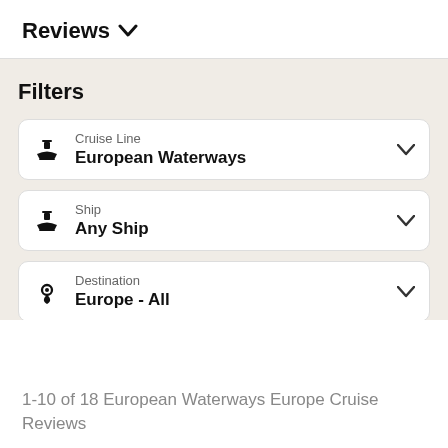Reviews ∨
Filters
Cruise Line
European Waterways
Ship
Any Ship
Destination
Europe - All
Show more filters ∨
1-10 of 18 European Waterways Europe Cruise Reviews